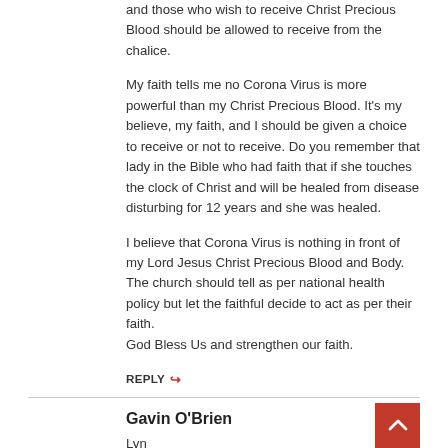and those who wish to receive Christ Precious Blood should be allowed to receive from the chalice.
My faith tells me no Corona Virus is more powerful than my Christ Precious Blood. It's my believe, my faith, and I should be given a choice to receive or not to receive. Do you remember that lady in the Bible who had faith that if she touches the clock of Christ and will be healed from disease disturbing for 12 years and she was healed.
I believe that Corona Virus is nothing in front of my Lord Jesus Christ Precious Blood and Body. The church should tell as per national health policy but let the faithful decide to act as per their faith.
God Bless Us and strengthen our faith.
REPLY ↩
Gavin O'Brien
Lyn